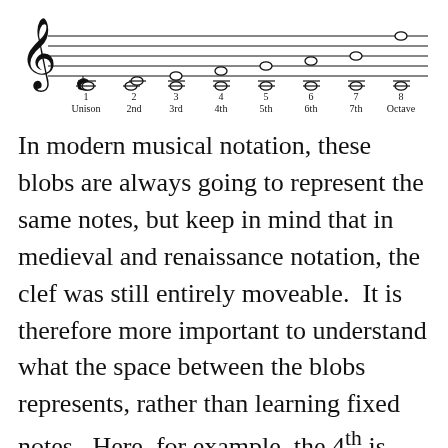[Figure (illustration): Musical staff showing intervals from Unison to Octave (1–8), with treble clef and whole notes stacked in pairs labeled 1 Unison, 2 2nd, 3 3rd, 4 4th, 5 5th, 6 6th, 7 7th, 8 Octave]
In modern musical notation, these blobs are always going to represent the same notes, but keep in mind that in medieval and renaissance notation, the clef was still entirely moveable.  It is therefore more important to understand what the space between the blobs represents, rather than learning fixed notes.  Here, for example, the 4th is shown as a C and an F, but it's better to learn it as four staff positions (here from line, past space, past line, to